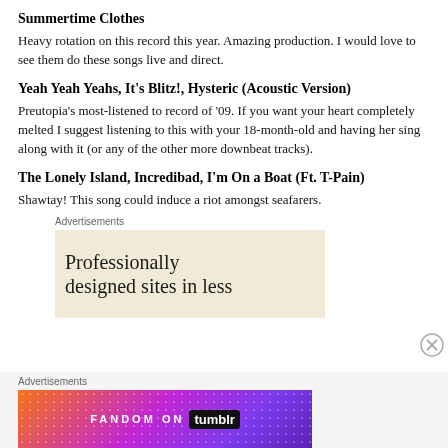Summertime Clothes
Heavy rotation on this record this year. Amazing production. I would love to see them do these songs live and direct.
Yeah Yeah Yeahs, It's Blitz!, Hysteric (Acoustic Version)
Preutopia's most-listened to record of '09. If you want your heart completely melted I suggest listening to this with your 18-month-old and having her sing along with it (or any of the other more downbeat tracks).
The Lonely Island, Incredibad, I'm On a Boat (Ft. T-Pain)
Shawtay! This song could induce a riot amongst seafarers.
Advertisements
[Figure (other): Advertisement banner: 'Professionally designed sites in less']
Advertisements
[Figure (other): Fandom on Tumblr advertisement banner with colorful gradient background]